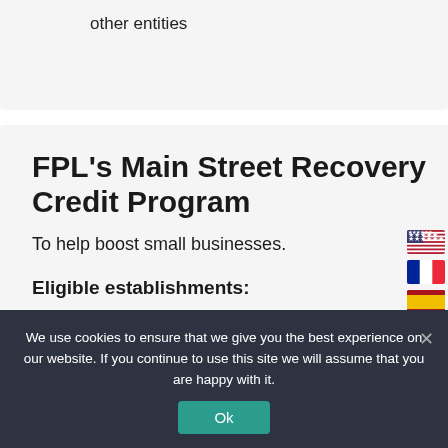other entities
FPL's Main Street Recovery Credit Program
To help boost small businesses.
Eligible establishments:
Non-demand commercial account-
We use cookies to ensure that we give you the best experience on our website. If you continue to use this site we will assume that you are happy with it.